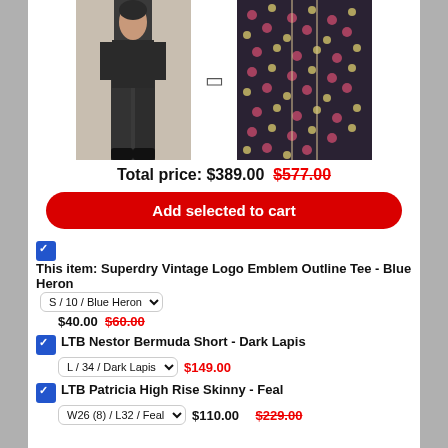[Figure (photo): Two product images side by side: left shows a person wearing dark jeans, right shows a floral fabric close-up]
Total price: $389.00  $577.00
Add selected to cart
This item: Superdry Vintage Logo Emblem Outline Tee - Blue Heron  S / 10 / Blue Heron  $40.00  $60.00
LTB Nestor Bermuda Short - Dark Lapis  L / 34 / Dark Lapis  $149.00
LTB Patricia High Rise Skinny - Feal  W26 (8) / L32 / Feal  $110.00  $229.00